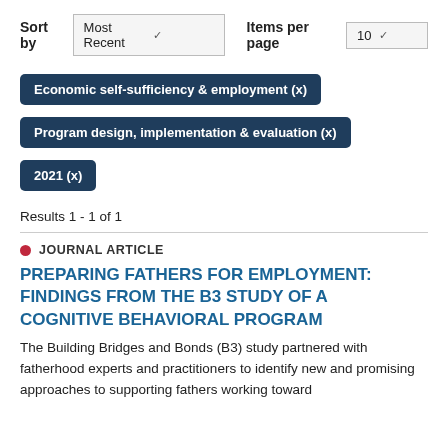Sort by  Most Recent   Items per page  10
Economic self-sufficiency & employment (x)
Program design, implementation & evaluation (x)
2021 (x)
Results 1 - 1 of 1
JOURNAL ARTICLE
PREPARING FATHERS FOR EMPLOYMENT: FINDINGS FROM THE B3 STUDY OF A COGNITIVE BEHAVIORAL PROGRAM
The Building Bridges and Bonds (B3) study partnered with fatherhood experts and practitioners to identify new and promising approaches to supporting fathers working toward